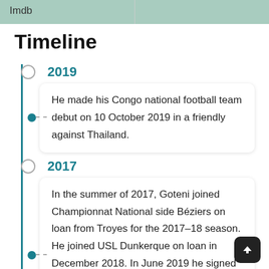| Imdb |  |
| --- | --- |
|  |   |
Timeline
2019
He made his Congo national football team debut on 10 October 2019 in a friendly against Thailand.
2017
In the summer of 2017, Goteni joined Championnat National side Béziers on loan from Troyes for the 2017–18 season. He joined USL Dunkerque on loan in December 2018. In June 2019 he signed a one-year contract with